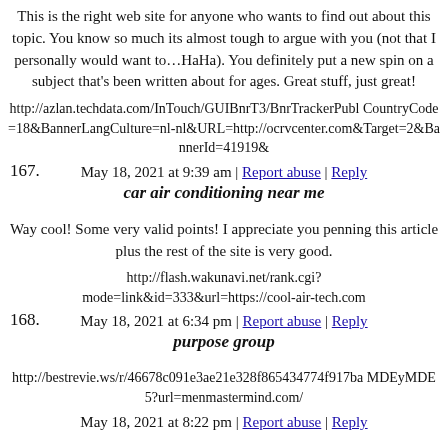This is the right web site for anyone who wants to find out about this topic. You know so much its almost tough to argue with you (not that I personally would want to…HaHa). You definitely put a new spin on a subject that's been written about for ages. Great stuff, just great!
http://azlan.techdata.com/InTouch/GUIBnrT3/BnrTrackerPubl CountryCode=18&BannerLangCulture=nl-nl&URL=http://ocrvcenter.com&Target=2&BannerId=41919&
May 18, 2021 at 9:39 am | Report abuse | Reply
167.   car air conditioning near me
Way cool! Some very valid points! I appreciate you penning this article plus the rest of the site is very good.
http://flash.wakunavi.net/rank.cgi?mode=link&id=333&url=https://cool-air-tech.com
May 18, 2021 at 6:34 pm | Report abuse | Reply
168.   purpose group
http://bestrevie.ws/r/46678c091e3ae21e328f865434774f917ba MDEyMDE5?url=menmastermind.com/
May 18, 2021 at 8:22 pm | Report abuse | Reply